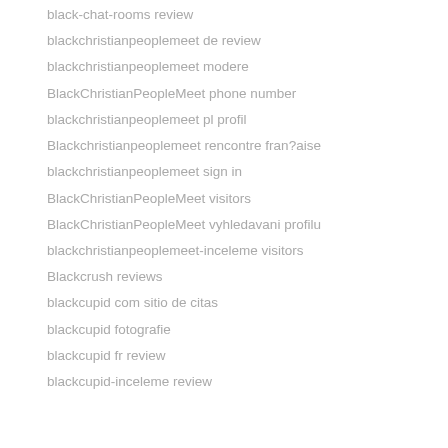black-chat-rooms review
blackchristianpeoplemeet de review
blackchristianpeoplemeet modere
BlackChristianPeopleMeet phone number
blackchristianpeoplemeet pl profil
Blackchristianpeoplemeet rencontre fran?aise
blackchristianpeoplemeet sign in
BlackChristianPeopleMeet visitors
BlackChristianPeopleMeet vyhledavani profilu
blackchristianpeoplemeet-inceleme visitors
Blackcrush reviews
blackcupid com sitio de citas
blackcupid fotografie
blackcupid fr review
blackcupid-inceleme review